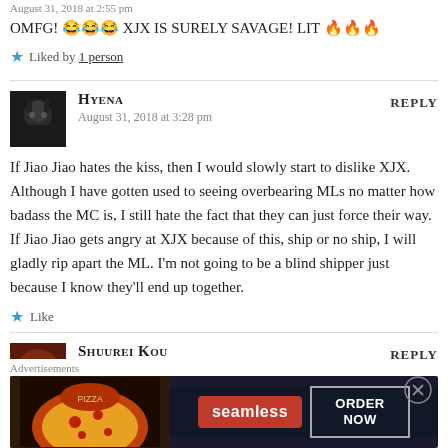August 31, 2018 at 2:55 pm
OMFG! 😂😂😂 XJX IS SURELY SAVAGE! LIT 🔥🔥🔥
Liked by 1 person
HYENA says: August 31, 2018 at 3:28 pm — REPLY
If Jiao Jiao hates the kiss, then I would slowly start to dislike XJX. Although I have gotten used to seeing overbearing MLs no matter how badass the MC is, I still hate the fact that they can just force their way. If Jiao Jiao gets angry at XJX because of this, ship or no ship, I will gladly rip apart the ML. I'm not going to be a blind shipper just because I know they'll end up together.
Like
SHUUREI KOU says: — REPLY
Advertisements
[Figure (other): Seamless food delivery advertisement banner with pizza image, Seamless logo, and ORDER NOW button]